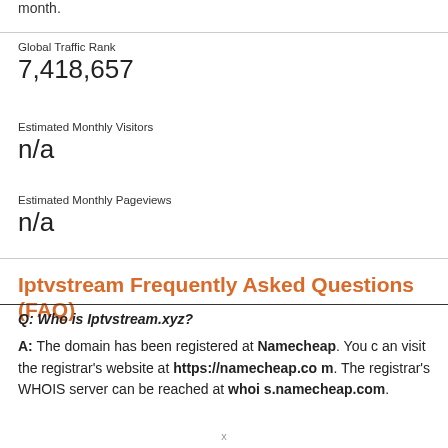month.
Global Traffic Rank
7,418,657
Estimated Monthly Visitors
n/a
Estimated Monthly Pageviews
n/a
Iptvstream Frequently Asked Questions (FAQ)
Q: Who is Iptvstream.xyz?
A: The domain has been registered at Namecheap. You can visit the registrar's website at https://namecheap.com. The registrar's WHOIS server can be reached at whois.namecheap.com.
x